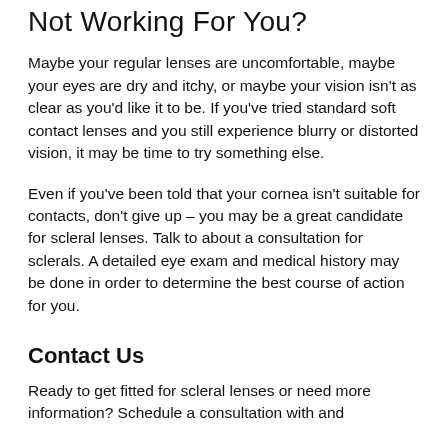Not Working For You?
Maybe your regular lenses are uncomfortable, maybe your eyes are dry and itchy, or maybe your vision isn't as clear as you'd like it to be. If you've tried standard soft contact lenses and you still experience blurry or distorted vision, it may be time to try something else.
Even if you've been told that your cornea isn't suitable for contacts, don't give up – you may be a great candidate for scleral lenses. Talk to about a consultation for sclerals. A detailed eye exam and medical history may be done in order to determine the best course of action for you.
Contact Us
Ready to get fitted for scleral lenses or need more information? Schedule a consultation with and